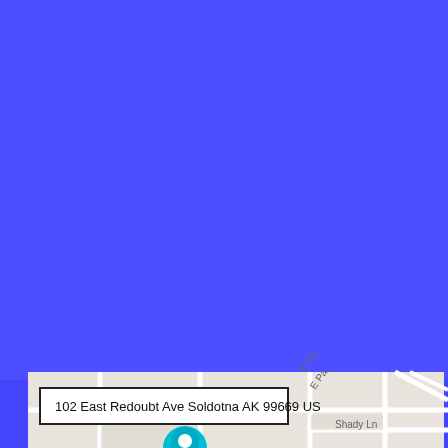[Figure (map): A map screenshot showing a location in Soldotna, AK. The upper portion is dominated by a bright blue/purple background (likely water or app UI). The lower portion shows a street map with roads including W Park Ave, E Park Ave (labeled 'E Pa' partially), and Shady Ln. A teal location pin marker is visible at the bottom. An address label box reads: 102 East Redoubt Ave Soldotna AK 99669 US.]